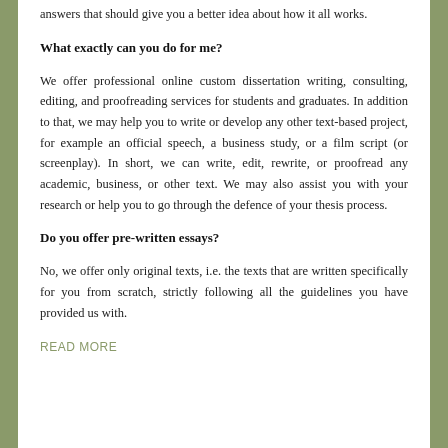answers that should give you a better idea about how it all works.
What exactly can you do for me?
We offer professional online custom dissertation writing, consulting, editing, and proofreading services for students and graduates. In addition to that, we may help you to write or develop any other text-based project, for example an official speech, a business study, or a film script (or screenplay). In short, we can write, edit, rewrite, or proofread any academic, business, or other text. We may also assist you with your research or help you to go through the defence of your thesis process.
Do you offer pre-written essays?
No, we offer only original texts, i.e. the texts that are written specifically for you from scratch, strictly following all the guidelines you have provided us with.
READ MORE